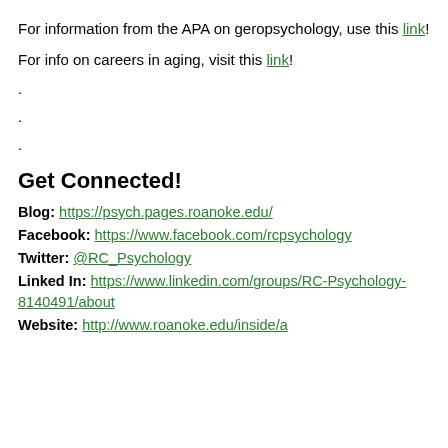For information from the APA on geropsychology, use this link!
For info on careers in aging, visit this link!
.
.
.
Get Connected!
Blog: https://psych.pages.roanoke.edu/
Facebook: https://www.facebook.com/rcpsychology
Twitter: @RC_Psychology
Linked In: https://www.linkedin.com/groups/RC-Psychology-8140491/about
Website: http://www.roanoke.edu/inside/a...